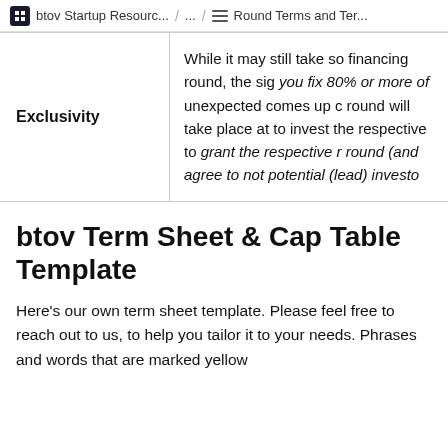btov Startup Resourc... / ... / Round Terms and Ter...
|  |  |
| --- | --- |
| Exclusivity | While it may still take so financing round, the sig you fix 80% or more of unexpected comes up c round will take place at to invest the respective to grant the respective r round (and agree to not potential (lead) investo |
btov Term Sheet & Cap Table Template
Here's our own term sheet template. Please feel free to reach out to us, to help you tailor it to your needs. Phrases and words that are marked yellow